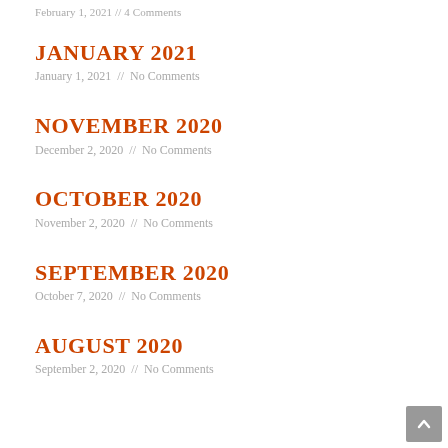February 1, 2021 // 4 Comments
JANUARY 2021
January 1, 2021 // No Comments
NOVEMBER 2020
December 2, 2020 // No Comments
OCTOBER 2020
November 2, 2020 // No Comments
SEPTEMBER 2020
October 7, 2020 // No Comments
AUGUST 2020
September 2, 2020 // No Comments